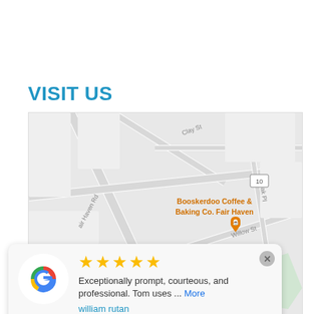VISIT US
[Figure (map): Google Maps screenshot showing Fair Haven area with pins for Booskerdoo Coffee & Baking Co. Fair Haven, upo Pizzeria Fair Haven, Nauvoo Grill Club, and Foley Prep Rumson | Fair Haven. Streets visible include Clay St, Fair Haven Rd, Oak Pl, Willow St.]
★★★★★ Exceptionally prompt, courteous, and professional. Tom uses ... More
william rutan